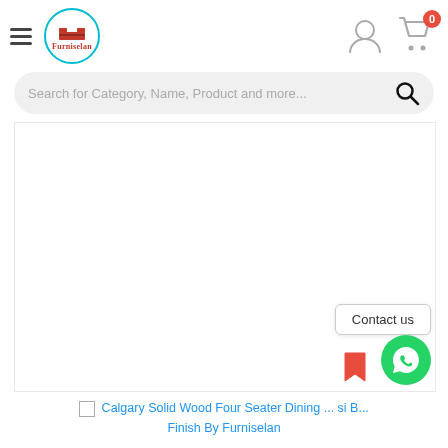[Figure (logo): Furniselan logo with bed icon inside a teal circle border and brand name in red serif font]
[Figure (screenshot): Main product image area - large white/blank area for product photo]
Calgary Solid Wood Four Seater Dining ... si B... Finish By Furniselan